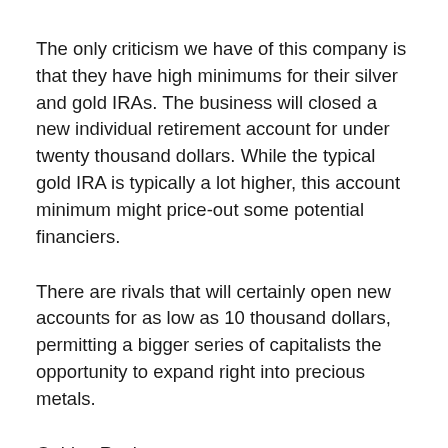The only criticism we have of this company is that they have high minimums for their silver and gold IRAs. The business will closed a new individual retirement account for under twenty thousand dollars. While the typical gold IRA is typically a lot higher, this account minimum might price-out some potential financiers.
There are rivals that will certainly open new accounts for as low as 10 thousand dollars, permitting a bigger series of capitalists the opportunity to expand right into precious metals.
Goldco Review